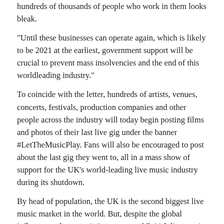hundreds of thousands of people who work in them looks bleak.
“Until these businesses can operate again, which is likely to be 2021 at the earliest, government support will be crucial to prevent mass insolvencies and the end of this worldleading industry.”
To coincide with the letter, hundreds of artists, venues, concerts, festivals, production companies and other people across the industry will today begin posting films and photos of their last live gig under the banner #LetTheMusicPlay. Fans will also be encouraged to post about the last gig they went to, all in a mass show of support for the UK’s world-leading live music industry during its shutdown.
By head of population, the UK is the second biggest live music market in the world. But, despite the global influence and economic importance of British live music, government support for the sector continues to lag behind other countries. The German government recently announced €150m in financial support for live music as part of a €50bn package of grants and loans for the cultural sector, and France has announced a further €50m to ‘build support plans’ for the live music industry.